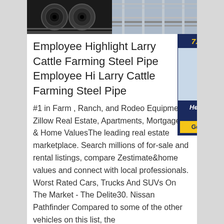[Figure (photo): Two industrial photos side by side: left shows steel coils in dark warehouse, right shows factory floor with steel framing/conveyor]
Employee Highlight Larry Cattle Farming Steel Pipe Employee Hi Larry Cattle Farming Steel Pipe
#1 in Farm , Ranch, and Rodeo Equipment Zillow Real Estate, Apartments, Mortgages & Home ValuesThe leading real estate marketplace. Search millions of for-sale and rental listings, compare Zestimate&home values and connect with local professionals. Worst Rated Cars, Trucks And SUVs On The Market - The Delite30. Nissan Pathfinder Compared to some of the other vehicles on this list, the
[Figure (photo): Advertisement banner: '7X24 Online' header in navy blue with gold text, photo of woman with headset smiling, tagline 'Hello, may I help you?' and yellow 'Get Latest Price' button]